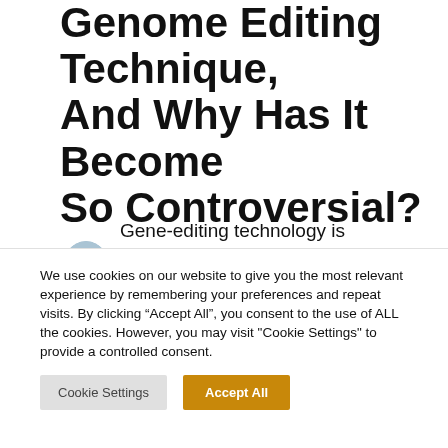Genome Editing Technique, And Why Has It Become So Controversial?
by Anna Sekscinska / Technology
Gene-editing technology is arguably the fastest developing branch of science in the 21st century. The invention of the CRISPR-Cas9 method began a
We use cookies on our website to give you the most relevant experience by remembering your preferences and repeat visits. By clicking "Accept All", you consent to the use of ALL the cookies. However, you may visit "Cookie Settings" to provide a controlled consent.